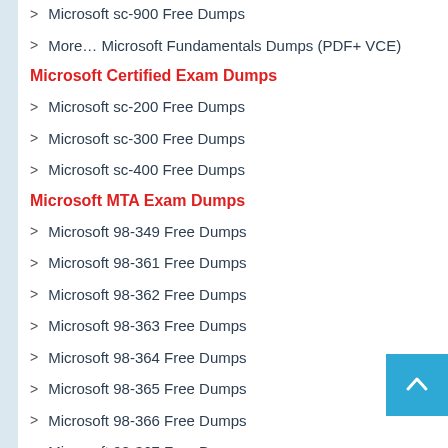Microsoft sc-900 Free Dumps
More… Microsoft Fundamentals Dumps (PDF+ VCE)
Microsoft Certified Exam Dumps
Microsoft sc-200 Free Dumps
Microsoft sc-300 Free Dumps
Microsoft sc-400 Free Dumps
Microsoft MTA Exam Dumps
Microsoft 98-349 Free Dumps
Microsoft 98-361 Free Dumps
Microsoft 98-362 Free Dumps
Microsoft 98-363 Free Dumps
Microsoft 98-364 Free Dumps
Microsoft 98-365 Free Dumps
Microsoft 98-366 Free Dumps
Microsoft 98-367 Free Dumps